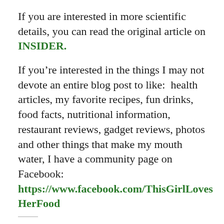If you are interested in more scientific details, you can read the original article on INSIDER.
If you’re interested in the things I may not devote an entire blog post to like:  health articles, my favorite recipes, fun drinks, food facts, nutritional information, restaurant reviews, gadget reviews, photos and other things that make my mouth water, I have a community page on Facebook: https://www.facebook.com/ThisGirlLovesHerFood